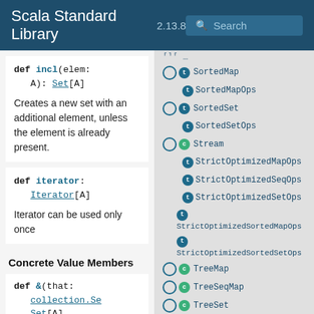Scala Standard Library 2.13.8 Search
def incl(elem: A): Set[A]
Creates a new set with an additional element, unless the element is already present.
def iterator: Iterator[A]
Iterator can be used only once
Concrete Value Members
def &(that: collection.SeSet[A]
SortedMap
SortedMapOps
SortedSet
SortedSetOps
Stream
StrictOptimizedMapOps
StrictOptimizedSeqOps
StrictOptimizedSetOps
StrictOptimizedSortedMapOps
StrictOptimizedSortedSetOps
TreeMap
TreeSeqMap
TreeSet
Vector
VectorBuilder